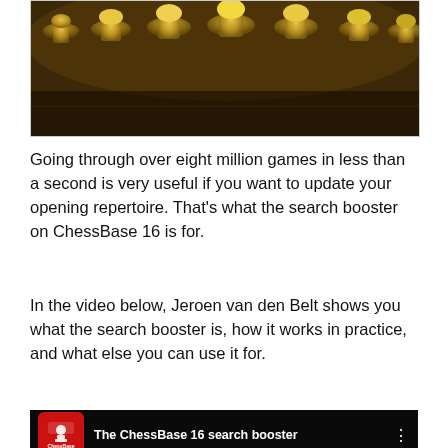[Figure (photo): Close-up photo of yellow/golden chess pieces (pawns) arranged in rows, blurred background]
Going through over eight million games in less than a second is very useful if you want to update your opening repertoire. That's what the search booster on ChessBase 16 is for.
In the video below, Jeroen van den Belt shows you what the search booster is, how it works in practice, and what else you can use it for.
[Figure (screenshot): YouTube video thumbnail for 'The ChessBase 16 search booster' showing ChessBase software interface with a bar chart and YouTube play button overlay]